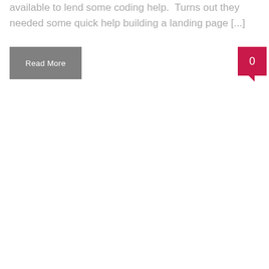available to lend some coding help.  Turns out they needed some quick help building a landing page [...]
Read More
[Figure (other): Pink/red speech bubble icon with the number 0 inside]